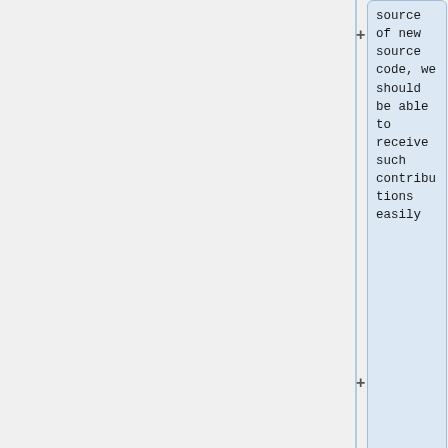source of new source code, we should be able to receive such contributions easily
** OSGeo currently deploys a self-hosted "gitlab" repo: https://lists.osgeo.org/pipermail/sac/2016-August/007345.html